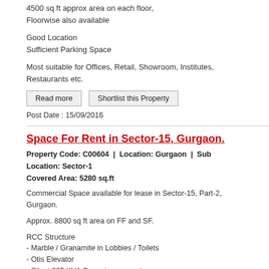4500 sq ft approx area on each floor,
Floorwise also available
Good Location
Sufficient Parking Space
Most suitable for Offices, Retail, Showroom, Institutes, Restaurants etc.
Read more   Shortlist this Property
Post Date : 15/09/2016
Space For Rent in Sector-15, Gurgaon.
Property Code: C00604  |  Location: Gurgaon  |  Sub Location: Sector-15
Covered Area: 5280 sq.ft
Commercial Space available for lease in Sector-15, Part-2, Gurgaon.
Approx. 8800 sq ft area on FF and SF.
RCC Structure
- Marble / Granamite in Lobbies / Toilets
- Otis Elevator
- Silent 225 KVA Cummins generator
- open parking in front of building